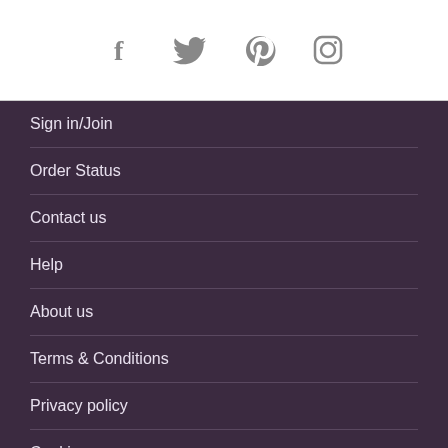[Figure (other): Social media icons row: Facebook, Twitter, Pinterest, Instagram]
Sign in/Join
Order Status
Contact us
Help
About us
Terms & Conditions
Privacy policy
Cookies
We accept these payment methods
[Figure (other): Payment method cards: Visa (blue), Mastercard, American Express, Visa (white)]